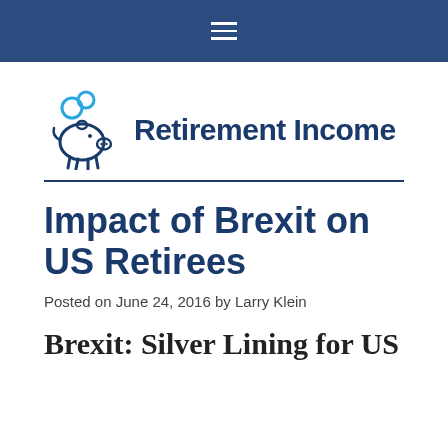≡
[Figure (logo): Retirement Income logo with piggy bank icon and coins, text reads 'Retirement Income']
Impact of Brexit on US Retirees
Posted on June 24, 2016 by Larry Klein
Brexit: Silver Lining for US